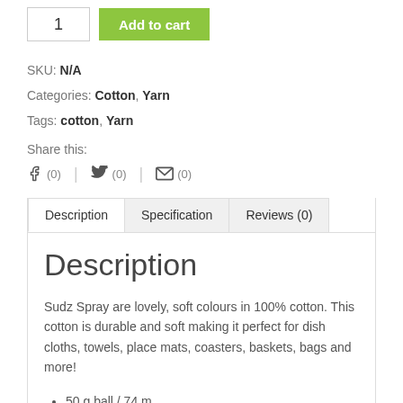SKU: N/A
Categories: Cotton, Yarn
Tags: cotton, Yarn
Share this:
f (0) | (0) | (0)
Description | Specification | Reviews (0)
Description
Sudz Spray are lovely, soft colours in 100% cotton. This cotton is durable and soft making it perfect for dish cloths, towels, place mats, coasters, baskets, bags and more!
50 g ball / 74 m